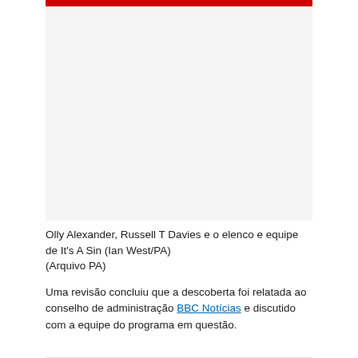[Figure (photo): Photo of Olly Alexander, Russell T Davies and the cast and crew of It's A Sin (Ian West/PA)]
Olly Alexander, Russell T Davies e o elenco e equipe de It's A Sin (Ian West/PA)
(Arquivo PA)
Uma revisão concluiu que a descoberta foi relatada ao conselho de administração BBC Notícias e discutido com a equipe do programa em questão.